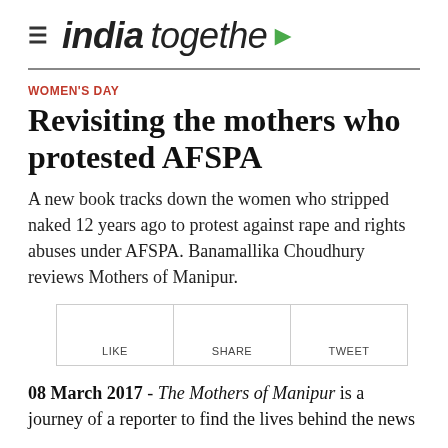india together
WOMEN'S DAY
Revisiting the mothers who protested AFSPA
A new book tracks down the women who stripped naked 12 years ago to protest against rape and rights abuses under AFSPA. Banamallika Choudhury reviews Mothers of Manipur.
[Figure (other): Social sharing buttons: LIKE, SHARE, TWEET]
08 March 2017 - The Mothers of Manipur is a journey of a reporter to find the lives behind the news